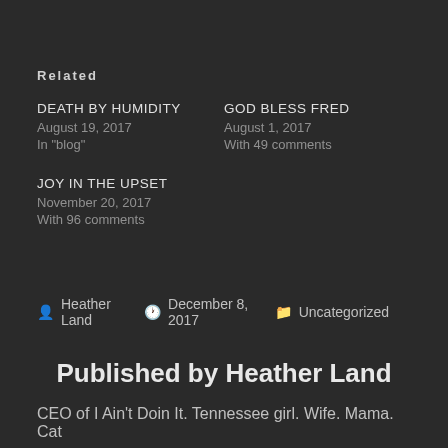Related
DEATH BY HUMIDITY
August 19, 2017
In "blog"
GOD BLESS FRED
August 1, 2017
With 49 comments
JOY IN THE UPSET
November 20, 2017
With 96 comments
Posted by Heather Land   December 8, 2017   Uncategorized
Published by Heather Land
CEO of I Ain't Doin It. Tennessee girl. Wife. Mama. Cat